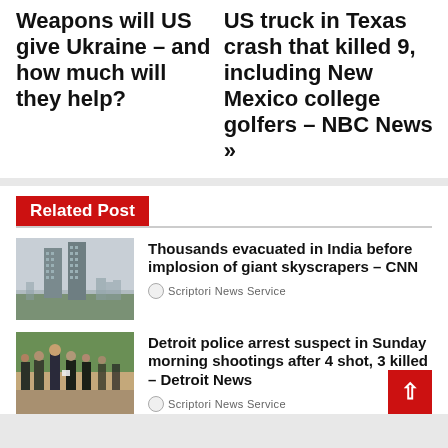Weapons will US give Ukraine – and how much will they help?
US truck in Texas crash that killed 9, including New Mexico college golfers – NBC News »
Related Post
[Figure (photo): Two tall skyscraper towers with trees and city in background, about to be imploded in India]
Thousands evacuated in India before implosion of giant skyscrapers – CNN
Scriptori News Service
[Figure (photo): Detroit police officials and officers standing outside at a press conference]
Detroit police arrest suspect in Sunday morning shootings after 4 shot, 3 killed – Detroit News
Scriptori News Service